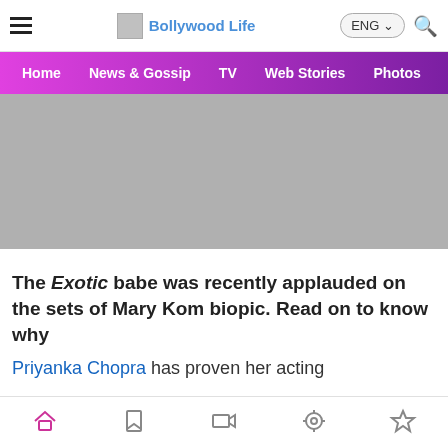Bollywood Life — Navigation: Home, News & Gossip, TV, Web Stories, Photos, Video
[Figure (other): Grey advertisement banner placeholder]
The Exotic babe was recently applauded on the sets of Mary Kom biopic. Read on to know why
Priyanka Chopra has proven her acting
Bottom tab bar with home, bookmark, video, search, and star icons